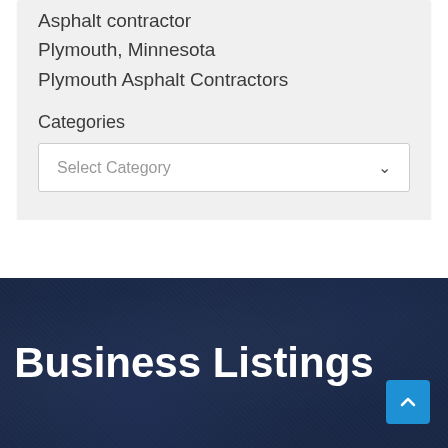Asphalt contractor
Plymouth, Minnesota
Plymouth Asphalt Contractors
Categories
Select Category
Business Listings